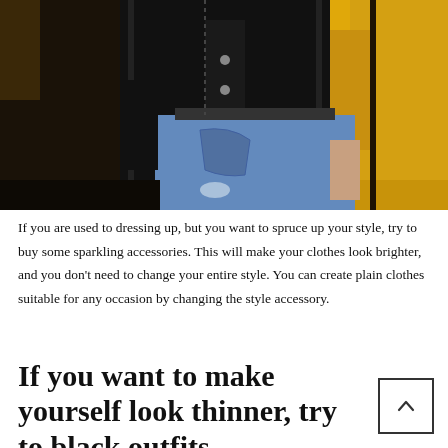[Figure (photo): A person wearing a black leather jacket with silver zipper details and blue distressed jeans, standing outdoors in front of yellow autumn foliage.]
If you are used to dressing up, but you want to spruce up your style, try to buy some sparkling accessories. This will make your clothes look brighter, and you don't need to change your entire style. You can create plain clothes suitable for any occasion by changing the style accessory.
If you want to make yourself look thinner, try to black outfits